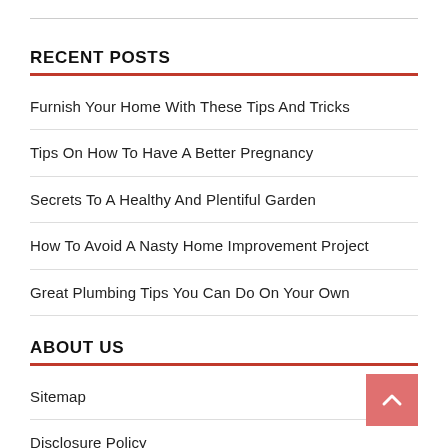RECENT POSTS
Furnish Your Home With These Tips And Tricks
Tips On How To Have A Better Pregnancy
Secrets To A Healthy And Plentiful Garden
How To Avoid A Nasty Home Improvement Project
Great Plumbing Tips You Can Do On Your Own
ABOUT US
Sitemap
Disclosure Policy